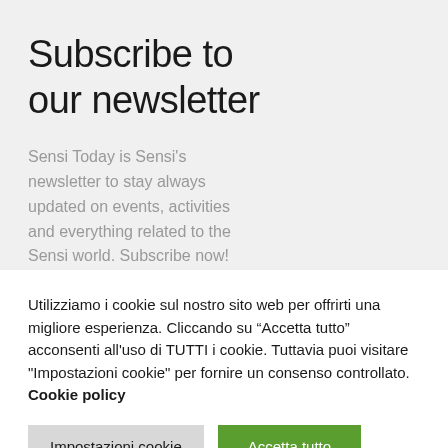Subscribe to our newsletter
Sensi Today is Sensi's newsletter to stay always updated on events, activities and everything related to the Sensi world. Subscribe now!
Utilizziamo i cookie sul nostro sito web per offrirti una migliore esperienza. Cliccando su “Accetta tutto” acconsenti all'uso di TUTTI i cookie. Tuttavia puoi visitare "Impostazioni cookie" per fornire un consenso controllato. Cookie policy
Impostazioni cookie
Accetta tutto